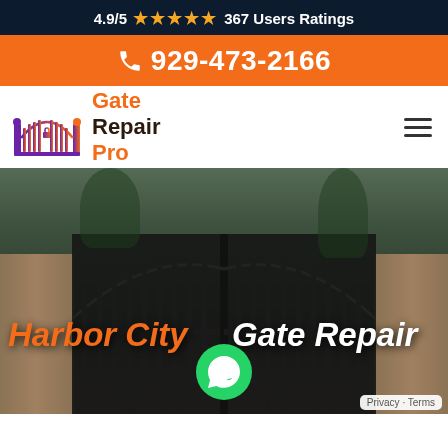4.9/5 ★★★★★ 367 Users Ratings
929-473-2166
[Figure (logo): Gate Repair Pro logo with ornate gate graphic in purple/orange gradient]
[Figure (photo): Dark wrought iron driveway gate between stone pillars with trees and house in background, overlaid with text Harbor City Gate Repair and green phone button]
Harbor City Gate Repair
Privacy · Terms